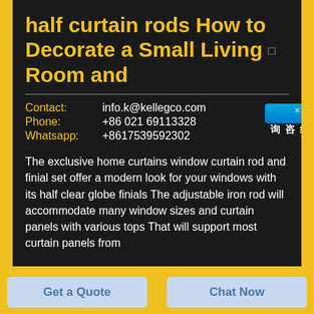half curtain rods How to Decorate a Small Living Room and
Contact: info.k@kellegco.com
Phone: +86 021 69113328
Whatsapp: +8617539592302
The exclusive home curtains window curtain rod and finial set offer a modern look for your windows with its half clear globe finials The adjustable iron rod will accommodate many window sizes and curtain panels with various tops That will support most curtain panels from
Get a Quote
Chat Now